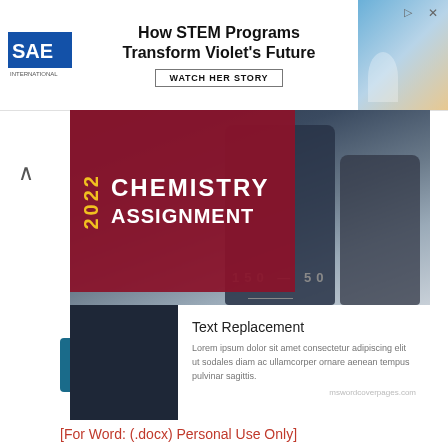[Figure (screenshot): SAE advertisement banner: SAE logo on left, text 'How STEM Programs Transform Violet's Future' with 'WATCH HER STORY' button, photo of child on right]
[Figure (illustration): 2022 Chemistry Assignment cover page showing red title block with '2022 CHEMISTRY ASSIGNMENT' text, laboratory beaker/flask photo background showing measurement markings '150' and '50', dark sidebar on left, white text replacement box on lower right with lorem ipsum placeholder text and mswordcoverpages.com watermark]
Download
[For Word: (.docx) Personal Use Only]